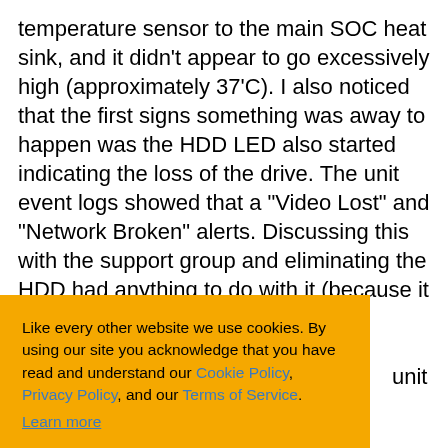temperature sensor to the main SOC heat sink, and it didn't appear to go excessively high (approximately 37'C). I also noticed that the first signs something was away to happen was the HDD LED also started indicating the loss of the drive. The unit event logs showed that a "Video Lost" and "Network Broken" alerts. Discussing this with the support group and eliminating the HDD had anything to do with it (because it still did the same thing without any drive unit as clearly replacement NC Video ontacts in and ATA for external
Like every other website we use cookies. By using our site you acknowledge that you have read and understand our Cookie Policy, Privacy Policy, and our Terms of Service. Learn more
Ask me later   Decline   Allow cookies